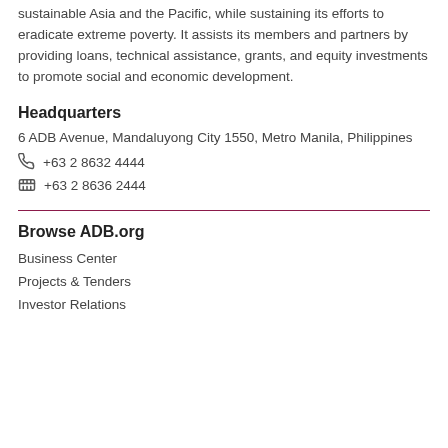sustainable Asia and the Pacific, while sustaining its efforts to eradicate extreme poverty. It assists its members and partners by providing loans, technical assistance, grants, and equity investments to promote social and economic development.
Headquarters
6 ADB Avenue, Mandaluyong City 1550, Metro Manila, Philippines
☎ +63 2 8632 4444
📠 +63 2 8636 2444
Browse ADB.org
Business Center
Projects & Tenders
Investor Relations